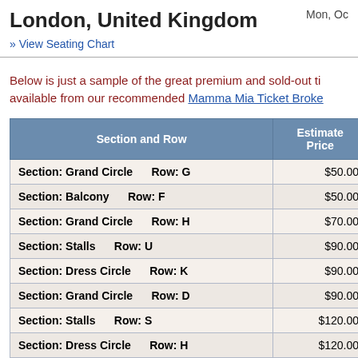London, United Kingdom
Mon, Oc
» View Seating Chart
Below is just a sample of the great premium and sold-out ti available from our recommended Mamma Mia Ticket Broke
| Section and Row | Estimated Price |
| --- | --- |
| Section: Grand Circle   Row: G | $50.00 |
| Section: Balcony   Row: F | $50.00 |
| Section: Grand Circle   Row: H | $70.00 |
| Section: Stalls   Row: U | $90.00 |
| Section: Dress Circle   Row: K | $90.00 |
| Section: Grand Circle   Row: D | $90.00 |
| Section: Stalls   Row: S | $120.00 |
| Section: Dress Circle   Row: H | $120.00 |
| Section: Dress Circle   Row: C | $140.00 |